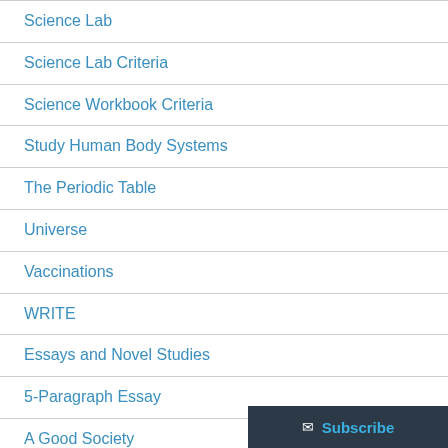Science Lab
Science Lab Criteria
Science Workbook Criteria
Study Human Body Systems
The Periodic Table
Universe
Vaccinations
WRITE
Essays and Novel Studies
5-Paragraph Essay
A Good Society